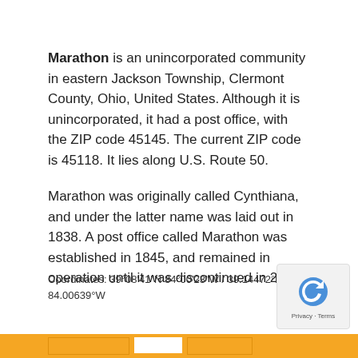Marathon is an unincorporated community in eastern Jackson Township, Clermont County, Ohio, United States. Although it is unincorporated, it had a post office, with the ZIP code 45145. The current ZIP code is 45118. It lies along U.S. Route 50.
Marathon was originally called Cynthiana, and under the latter name was laid out in 1838. A post office called Marathon was established in 1845, and remained in operation until it was discontinued in 2011.
Coordinates: 39°08′41″N 84°00′23″W / 39.14472°N 84.00639°W